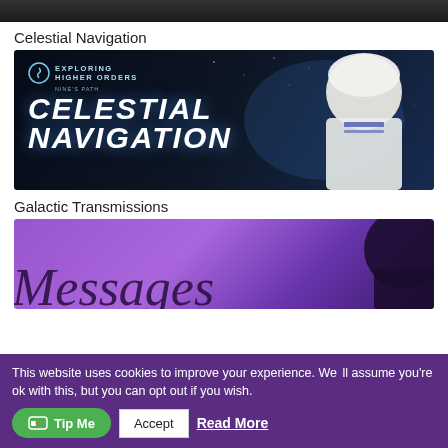[Figure (photo): Dark top image strip, partial view of a dark banner or image]
Celestial Navigation
[Figure (illustration): Celestial Navigation banner with dark starry sky background, woman with white hair in sailor outfit on right, Nine's Path logo and text 'Exploring Higher Orders Celestial Navigation' on left]
Galactic Transmissions
[Figure (illustration): Galactic Transmissions banner with purple gradient background, cursive text 'Messages' in dark, dark silhouette on right]
This website uses cookies to improve your experience. We'll assume you're ok with this, but you can opt out if you wish.
Accept
Read More